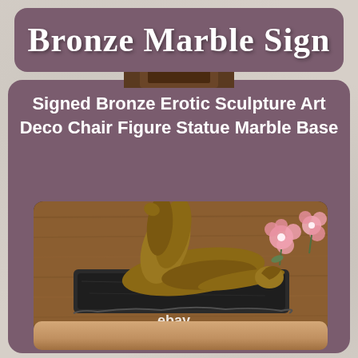Bronze Marble Sign
Signed Bronze Erotic Sculpture Art Deco Chair Figure Statue Marble Base
[Figure (photo): Photograph of a signed bronze erotic sculpture Art Deco figure lying on a marble base, shown on a wooden surface with pink flowers. eBay watermark visible.]
[Figure (photo): Partial view of another product image, partially cut off at the bottom of the page.]